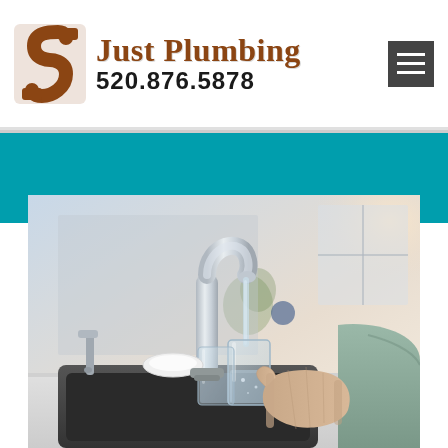[Figure (logo): Just Plumbing logo with S-pipe icon, company name 'Just Plumbing' in brown serif font, and phone number '520.876.5878' in black bold font]
[Figure (other): Dark gray hamburger menu icon (three horizontal lines) on dark background]
[Figure (photo): Photo of a person in a light green long-sleeve shirt holding a glass of water being filled at a modern chrome kitchen faucet over a dark sink, with a bright kitchen background]